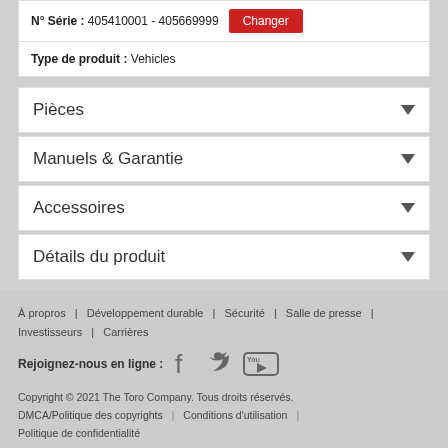N° Série : 405410001 - 405669999
Type de produit : Vehicles
Pièces
Manuels & Garantie
Accessoires
Détails du produit
À propros | Développement durable | Sécurité | Salle de presse | Investisseurs | Carrières
Rejoignez-nous en ligne : [icons]
Copyright © 2021 The Toro Company. Tous droits réservés.
DMCA/Politique des copyrights | Conditions d'utilisation |
Politique de confidentialité